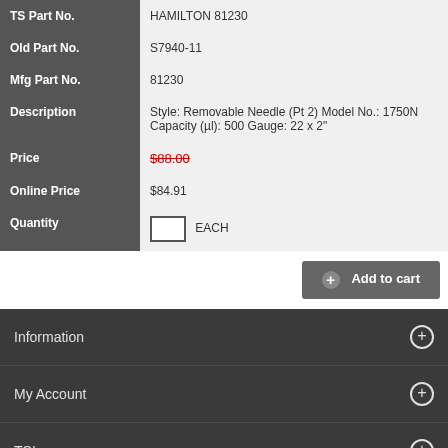| Field | Value |
| --- | --- |
| TS Part No. | HAMILTON 81230 |
| Old Part No. | S7940-11 |
| Mfg Part No. | 81230 |
| Description | Style: Removable Needle (Pt 2) Model No.: 1750N Capacity (µl): 500 Gauge: 22 x 2" |
| Price | $88.00 |
| Online Price | $84.91 |
| Quantity | EACH |
Add to cart
Information
My Account
TSI
© 2022 Thermal Scientific